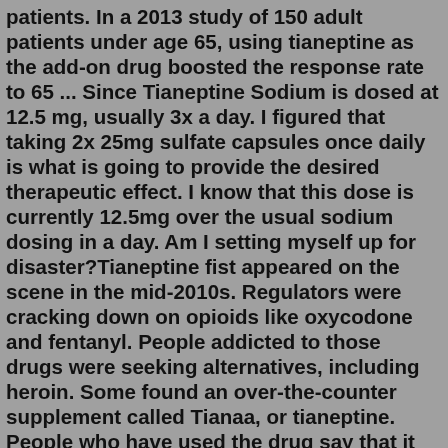patients. In a 2013 study of 150 adult patients under age 65, using tianeptine as the add-on drug boosted the response rate to 65 ... Since Tianeptine Sodium is dosed at 12.5 mg, usually 3x a day. I figured that taking 2x 25mg sulfate capsules once daily is what is going to provide the desired therapeutic effect. I know that this dose is currently 12.5mg over the usual sodium dosing in a day. Am I setting myself up for disaster?Tianeptine fist appeared on the scene in the mid-2010s. Regulators were cracking down on opioids like oxycodone and fentanyl. People addicted to those drugs were seeking alternatives, including heroin. Some found an over-the-counter supplement called Tianaa, or tianeptine. People who have used the drug say that it creates a euphoria like opioids and heroin, but If you were to dose 7mg of sulphate every 5 hours 3 times a day, when you wake up the second day your blood tianeptine would be around 3mg, rising to 10mg after your first dose, lowering to 5mg before your second dose, rising to 12mg after and then 6mg before your third dose. This is because the FDA has not